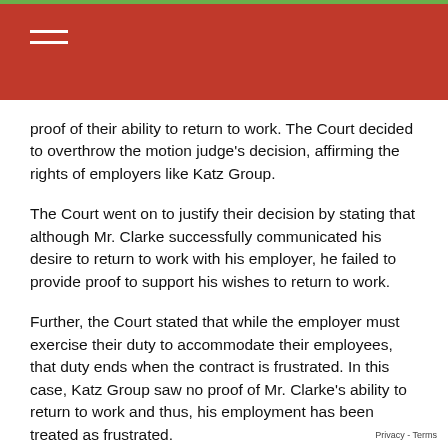proof of their ability to return to work. The Court decided to overthrow the motion judge's decision, affirming the rights of employers like Katz Group.
The Court went on to justify their decision by stating that although Mr. Clarke successfully communicated his desire to return to work with his employer, he failed to provide proof to support his wishes to return to work.
Further, the Court stated that while the employer must exercise their duty to accommodate their employees, that duty ends when the contract is frustrated. In this case, Katz Group saw no proof of Mr. Clarke's ability to return to work and thus, his employment has been treated as frustrated.
To further analyze the case, an apt background on the relationship between Katz Group and Mr. Clarke needs to be established.
Mr. Clarke had been working for Katz Group for approximately 13 years at the time of his termination. Of the 13 years he worked for Katz Group, he spent over five years on a leave of absence due to depression and then for physical injuries to his knee and leg.